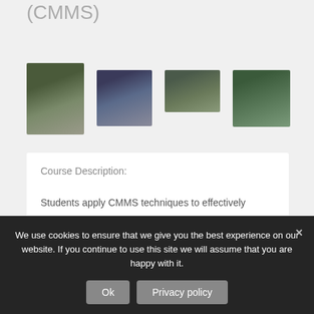(CMMS)
[Figure (photo): Soldier crouching and aiming weapon on a gravel outdoor range]
[Figure (photo): Group of personnel in dark uniforms in a defensive training exercise]
[Figure (photo): Person in tactical gear leaning out of a vehicle window]
[Figure (photo): Instructor walking past a line of uniformed officers outdoors]
Course Description:
Students apply CMMS techniques to effectively
We use cookies to ensure that we give you the best experience on our website. If you continue to use this site we will assume that you are happy with it.